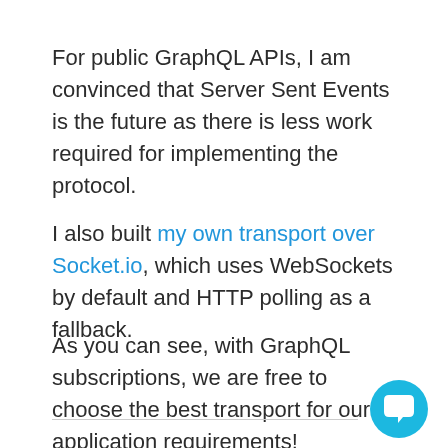For public GraphQL APIs, I am convinced that Server Sent Events is the future as there is less work required for implementing the protocol.
I also built my own transport over Socket.io, which uses WebSockets by default and HTTP polling as a fallback.
As you can see, with GraphQL subscriptions, we are free to choose the best transport for our application requirements!